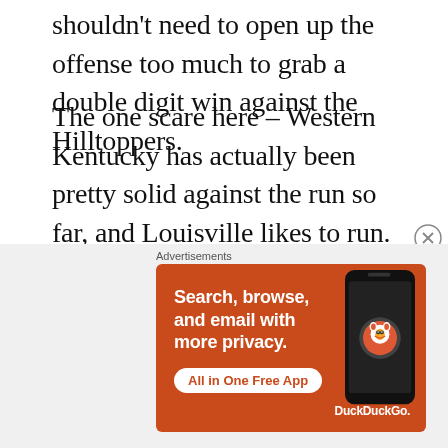shouldn't need to open up the offense too much to grab a double digit win against the Hilltoppers.
The one scare here – Western Kentucky has actually been pretty solid against the run so far, and Louisville likes to run. However, I don't see the Hilltoppers moving the ball much in this one. They've averaged 24 points per game so far against underwhelming competition in Central Arkansas (a loss!) and FIU. Louisville's defense will be a much tougher test, and if the Cardinals
Advertisements
[Figure (infographic): DuckDuckGo advertisement banner with orange background showing a phone, text 'Search, browse, and email with more privacy.' and button 'All in One Free App']